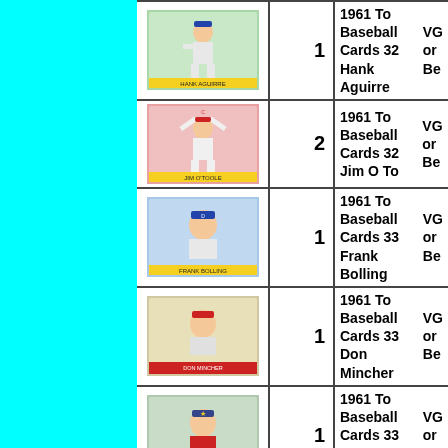| Image | Qty | Description |
| --- | --- | --- |
| [baseball card image] | 1 | 1961 To Baseball Cards 32 Hank Aguirre VG or Be |
| [baseball card image] | 2 | 1961 To Baseball Cards 32 Jim O To VG or Be |
| [baseball card image] | 1 | 1961 To Baseball Cards 33 Frank Bolling VG or Be |
| [baseball card image] | 1 | 1961 To Baseball Cards 33 Don Mincher VG or Be |
| [baseball card image] | 1 | 1961 To Baseball Cards 33 Don Landrum VG or Be |